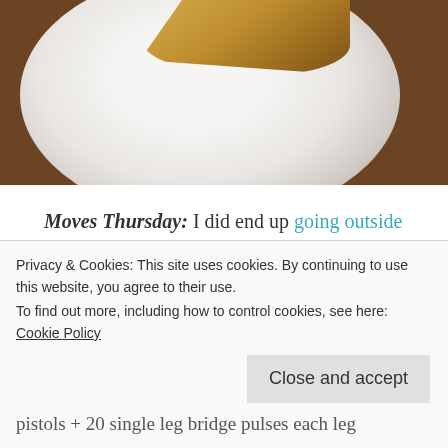[Figure (photo): A photo showing a white plate with a slice of pie or pastry on a wooden surface, viewed from above. Only the top portion of the plate and food is visible.]
Moves Thursday: I did end up going outside for a bit because it was just too gorgeous to not do so! In my backyard:
50 jumping jacks
super duper quick jog around the cul de sac (<— I had to look up how to spell that. I didn't know it's
Privacy & Cookies: This site uses cookies. By continuing to use this website, you agree to their use.
To find out more, including how to control cookies, see here: Cookie Policy
Close and accept
pistols + 20 single leg bridge pulses each leg